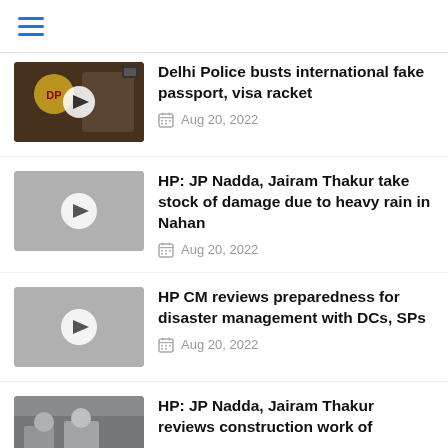Menu / Hamburger icon
[Figure (screenshot): News article thumbnail showing Delhi Police officer, with video play button overlay]
Delhi Police busts international fake passport, visa racket
Aug 20, 2022
[Figure (screenshot): Grey video thumbnail with play button overlay]
HP: JP Nadda, Jairam Thakur take stock of damage due to heavy rain in Nahan
Aug 20, 2022
[Figure (screenshot): Grey video thumbnail with play button overlay]
HP CM reviews preparedness for disaster management with DCs, SPs
Aug 20, 2022
[Figure (photo): Partial thumbnail showing people in a room, partially cropped]
HP: JP Nadda, Jairam Thakur reviews construction work of